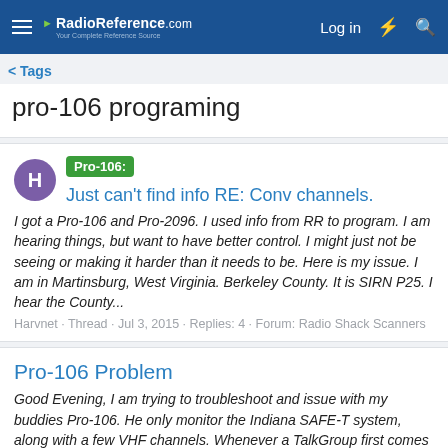RadioReference.com — Log in
< Tags
pro-106 programing
Pro-106: Just can't find info RE: Conv channels.
I got a Pro-106 and Pro-2096. I used info from RR to program. I am hearing things, but want to have better control. I might just not be seeing or making it harder than it needs to be. Here is my issue. I am in Martinsburg, West Virginia. Berkeley County. It is SIRN P25. I hear the County...
Harvnet · Thread · Jul 3, 2015 · Replies: 4 · Forum: Radio Shack Scanners
Pro-106 Problem
Good Evening, I am trying to troubleshoot and issue with my buddies Pro-106. He only monitor the Indiana SAFE-T system, along with a few VHF channels. Whenever a TalkGroup first comes up on his scanner, he usually doesn't hear the beginning part of the traffic. For example, if a firetruck...
TrevinH · Thread · Dec 2, 2013 · Replies: 8 · Forum: Radio Shack